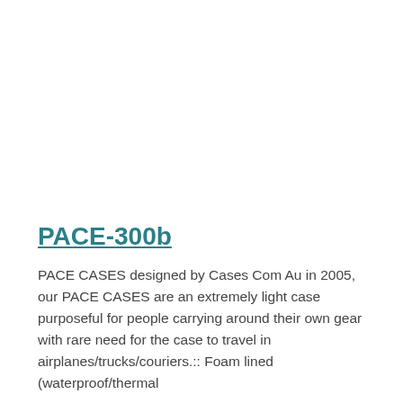PACE-300b
PACE CASES designed by Cases Com Au in 2005, our PACE CASES are an extremely light case purposeful for people carrying around their own gear with rare need for the case to travel in airplanes/trucks/couriers.:: Foam lined (waterproof/thermal